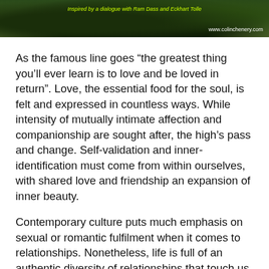[Figure (photo): Header image with dark green foliage background. Contains italic yellow-green text reading 'Inspired by a dialogue with Ram Dass and Eckhart Tolle' in the upper center, and white text 'www.colinchenery.com' in the lower right.]
As the famous line goes “the greatest thing you’ll ever learn is to love and be loved in return”. Love, the essential food for the soul, is felt and expressed in countless ways. While intensity of mutually intimate affection and companionship are sought after, the high’s pass and change. Self-validation and inner-identification must come from within ourselves, with shared love and friendship an expansion of inner beauty.
Contemporary culture puts much emphasis on sexual or romantic fulfilment when it comes to relationships. Nonetheless, life is full of an authentic diversity of relationships that touch us all. As we mature, long-term relationships take on complexity charged with the investment placed in each others